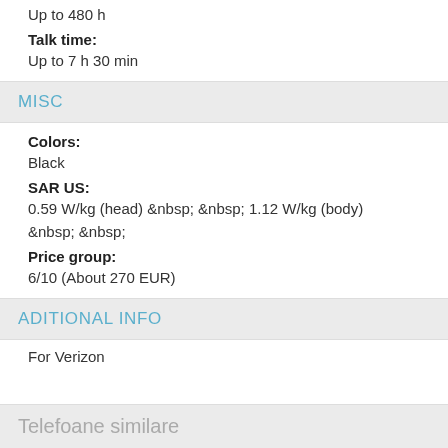Up to 480 h
Talk time:
Up to 7 h 30 min
MISC
Colors:
Black
SAR US:
0.59 W/kg (head) &nbsp; &nbsp; 1.12 W/kg (body) &nbsp; &nbsp;
Price group:
6/10 (About 270 EUR)
ADITIONAL INFO
For Verizon
Telefoane similare